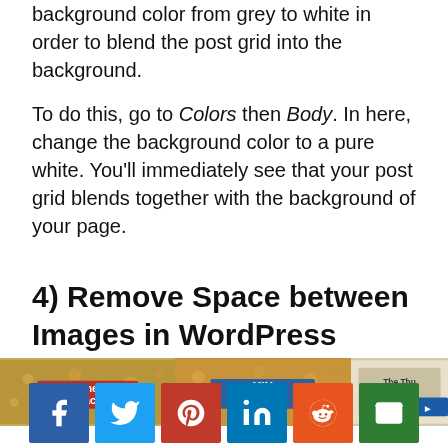background color from grey to white in order to blend the post grid into the background.
To do this, go to Colors then Body. In here, change the background color to a pure white. You’ll immediately see that your post grid blends together with the background of your page.
4) Remove Space between Images in WordPress
[Figure (screenshot): Screenshot showing a partial grid of cereal product images (Honey Smacks, Kix Cereal, The...) used as a WordPress post grid example]
[Figure (infographic): Social sharing buttons row: Facebook, Twitter, Pinterest, LinkedIn, Reddit, Email]